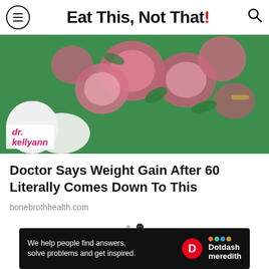Eat This, Not That!
[Figure (photo): Woman wearing a green floral dress/blouse with pink roses, appears to be on a TV set. Dr. Kellyann logo overlay at bottom left with circular profile photo inset.]
Doctor Says Weight Gain After 60 Literally Comes Down To This
bonebrothhealth.com
[Figure (other): Carousel navigation dots — one small grey dot and one larger dark dot indicating current slide position]
[Figure (infographic): Dotdash Meredith ad banner: 'We help people find answers, solve problems and get inspired.' with D logo and Dotdash meredith branding]